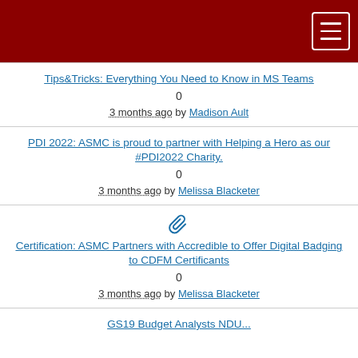[Navigation bar with menu button]
Tips&Tricks: Everything You Need to Know in MS Teams
0
3 months ago by Madison Ault
PDI 2022: ASMC is proud to partner with Helping a Hero as our #PDI2022 Charity.
0
3 months ago by Melissa Blacketer
[Figure (other): Paperclip attachment icon]
Certification: ASMC Partners with Accredible to Offer Digital Badging to CDFM Certificants
0
3 months ago by Melissa Blacketer
GS19 Budget Analysts NDU...